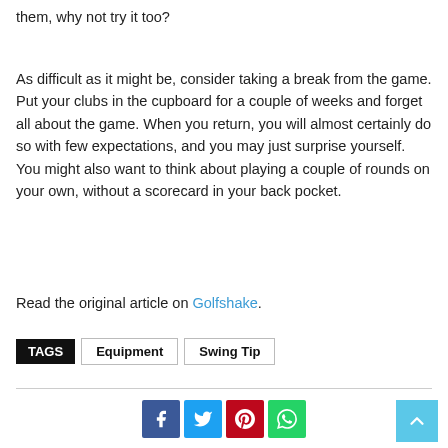them, why not try it too?
As difficult as it might be, consider taking a break from the game. Put your clubs in the cupboard for a couple of weeks and forget all about the game. When you return, you will almost certainly do so with few expectations, and you may just surprise yourself. You might also want to think about playing a couple of rounds on your own, without a scorecard in your back pocket.
Read the original article on Golfshake.
TAGS   Equipment   Swing Tip